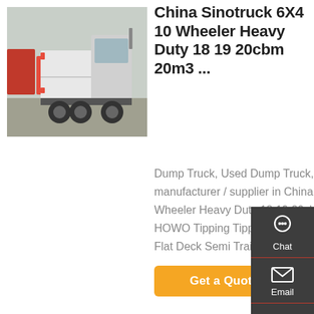[Figure (photo): Rear view of a white Sinotruck heavy duty dump truck in a parking area with other trucks visible in background]
China Sinotruck 6X4 10 Wheeler Heavy Duty 18 19 20cbm 20m3 ...
Dump Truck, Used Dump Truck, HOWO Dump Truck manufacturer / supplier in China, offering Sinotruck 6X4 10 Wheeler Heavy Duty 18 19 20cbm 20m3 New Used Trucks HOWO Tipping Tipper Dumper Dump Truck, 3 Axle 40feet Flat Deck Semi Trailer for Sale
[Figure (infographic): Side panel with Chat, Email, Contact, and Top navigation buttons on dark grey background]